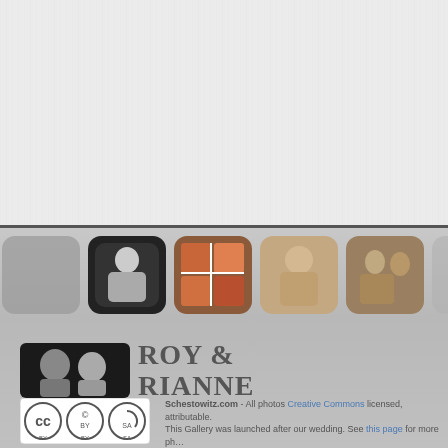[Figure (photo): Light gray textured background top section of a photo gallery website]
[Figure (photo): Row of rounded-corner photo thumbnails on brushed metal background: black and white portrait, color collage, sepia baby photo, sepia group photo, and gray placeholder tiles]
ROY & RIANNE
[Figure (photo): Creative Commons BY-SA license badge]
Schestowitz.com - All photos Creative Commons licensed, attributable. This Gallery was launched after our wedding. See this page for more ph…